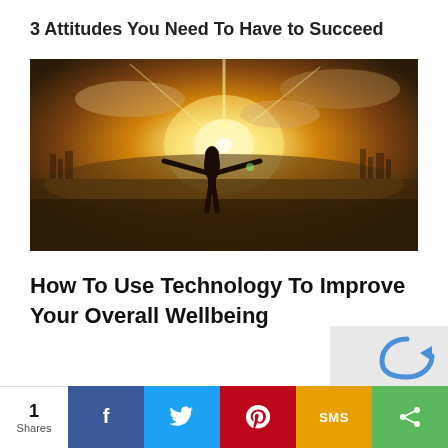3 Attitudes You Need To Have to Succeed
[Figure (photo): Woman with arms outstretched facing a golden sunset over a landscape with fields and city skyline in the background]
How To Use Technology To Improve Your Overall Wellbeing
[Figure (other): reCAPTCHA logo / widget in bottom right corner]
1 Shares | Facebook share | Twitter share | Pinterest share | SMS share | More share